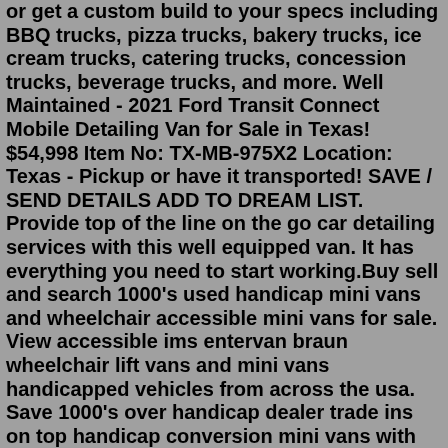or get a custom build to your specs including BBQ trucks, pizza trucks, bakery trucks, ice cream trucks, catering trucks, concession trucks, beverage trucks, and more. Well Maintained - 2021 Ford Transit Connect Mobile Detailing Van for Sale in Texas! $54,998 Item No: TX-MB-975X2 Location: Texas - Pickup or have it transported! SAVE / SEND DETAILS ADD TO DREAM LIST. Provide top of the line on the go car detailing services with this well equipped van. It has everything you need to start working.Buy sell and search 1000's used handicap mini vans and wheelchair accessible mini vans for sale. View accessible ims entervan braun wheelchair lift vans and mini vans handicapped vehicles from across the usa. Save 1000's over handicap dealer trade ins on top handicap conversion mini vans with wheelchair lifts and scooter lifts Find 243 used Cargo Van in Oregon as low as $16,995 on Carsforsale.com®. Shop millions of cars from over 22,500 dealers and find the perfect car. ... For two years in a row, car shoppers named Cars For Sale a